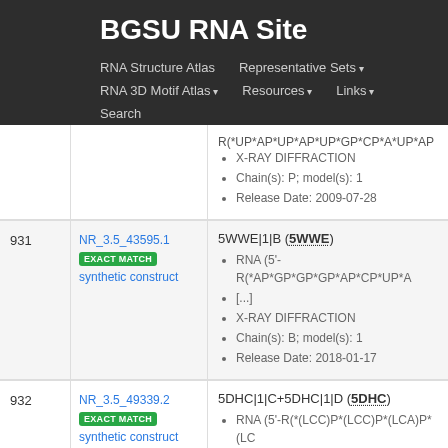BGSU RNA Site
RNA Structure Atlas | Representative Sets | RNA 3D Motif Atlas | Resources | Links | Search
| # | ID | Details |
| --- | --- | --- |
|  |  | R(*UP*AP*UP*AP*UP*GP*CP*A*UP*AP...
X-RAY DIFFRACTION
Chain(s): P; model(s): 1
Release Date: 2009-07-28 |
| 931 | NR_3.5_43595.1
EXACT MATCH
synthetic construct | 5WWE|1|B (5WWE)
RNA (5'-R(*AP*GP*GP*GP*AP*CP*UP*A...[...]
X-RAY DIFFRACTION
Chain(s): B; model(s): 1
Release Date: 2018-01-17 |
| 932 | NR_3.5_49339.2
EXACT MATCH
synthetic construct | 5DHC|1|C+5DHC|1|D (5DHC)
RNA (5'-R(*(LCC)P*(LCC)P*(LCA)P*(LC...
X-RAY DIFFRACTION |